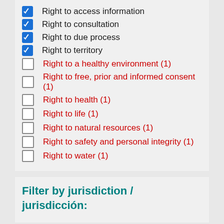Right to access information
Right to consultation
Right to due process
Right to territory
Right to a healthy environment (1)
Right to free, prior and informed consent (1)
Right to health (1)
Right to life (1)
Right to natural resources (1)
Right to safety and personal integrity (1)
Right to water (1)
Filter by jurisdiction / jurisdicción: